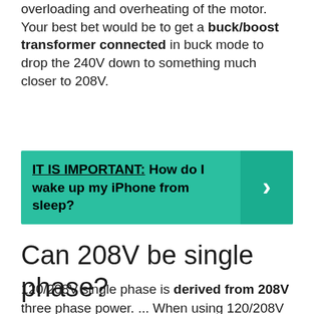overloading and overheating of the motor. Your best bet would be to get a buck/boost transformer connected in buck mode to drop the 240V down to something much closer to 208V.
[Figure (other): Green callout box with bold text: IT IS IMPORTANT: How do I wake up my iPhone from sleep? with a right-arrow button on the right side.]
Can 208V be single phase?
120/208V single phase is derived from 208V three phase power. ... When using 120/208V single phase, you will use any two of those same three hot conductors, with the two waveforms peaking 120 degrees apart from each other.